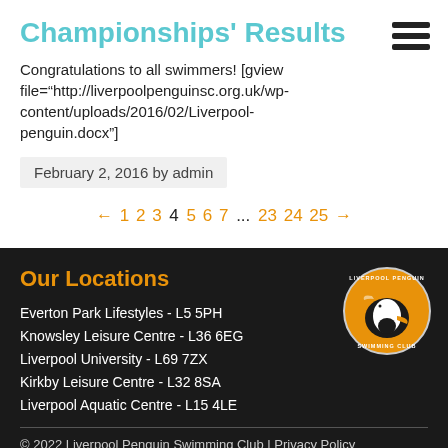Championships' Results
Congratulations to all swimmers! [gview file="http://liverpoolpenguinsc.org.uk/wp-content/uploads/2016/02/Liverpool-penguin.docx"]
February 2, 2016 by admin
← 1 2 3 4 5 6 7 ... 23 24 25 →
Our Locations
Everton Park Lifestyles - L5 5PH
Knowsley Leisure Centre - L36 6EG
Liverpool University - L69 7ZX
Kirkby Leisure Centre - L32 8SA
Liverpool Aquatic Centre - L15 4LE
[Figure (logo): Liverpool Penguin Swimming Club circular logo with orange background and penguin illustration]
© 2022 Liverpool Penguin Swimming Club | Privacy Policy